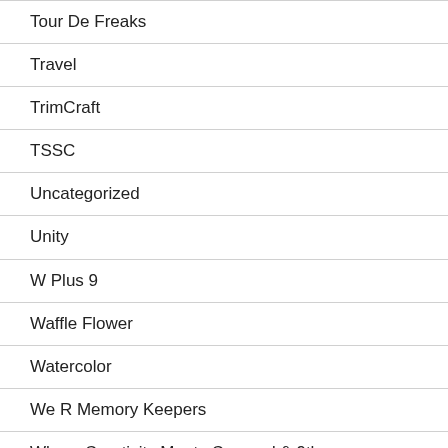Tour De Freaks
Travel
TrimCraft
TSSC
Uncategorized
Unity
W Plus 9
Waffle Flower
Watercolor
We R Memory Keepers
Where Creativity Meets Concord & 9th